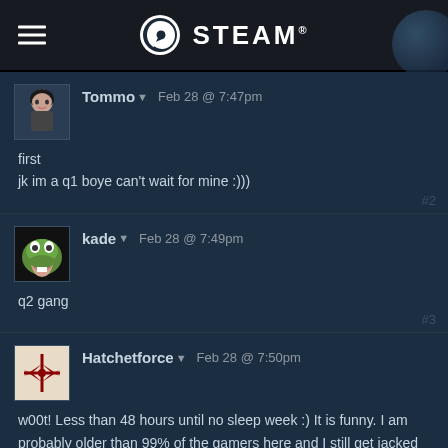STEAM
Tommo ▾  Feb 28 @ 7:47pm
first
jk im a q1 boye can't wait for mine :)))
kade ▾  Feb 28 @ 7:49pm
q2 gang
Hatchetforce ▾  Feb 28 @ 7:50pm
w00t! Less than 48 hours until no sleep week :) It is funny. I am probably older than 99% of the gamers here and I still get jacked for things like this.
Villy the Kitty ▾  Feb 28 @ 7:51pm